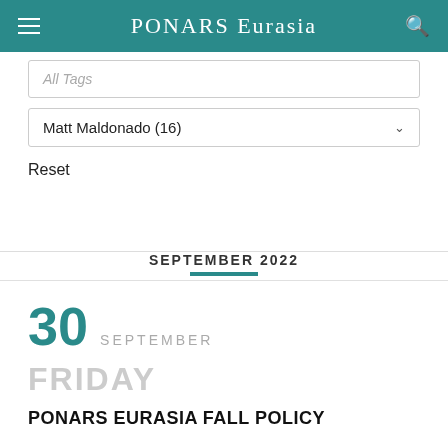PONARS Eurasia
All Tags
Matt Maldonado (16)
Reset
SEPTEMBER 2022
30 SEPTEMBER
FRIDAY
PONARS EURASIA FALL POLICY